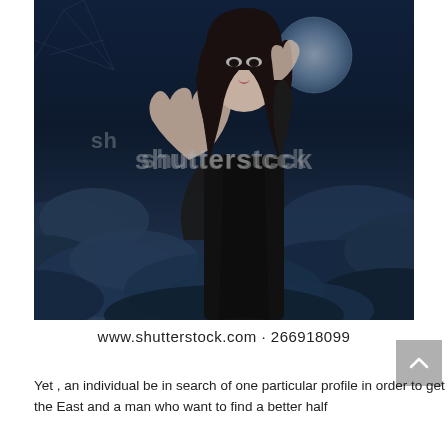[Figure (photo): A dark, atmospheric fantasy photo of a young woman with long dark hair, wearing a black outfit, raising one hand toward the viewer against a dramatic dark cloudy sky with a moon. A Shutterstock watermark overlays the image. Below the image: www.shutterstock.com · 266918099]
Yet , an individual be in search of one particular profile in order to get involved with this site. If you're a woman trying to find the ideal husband from the East and a man who want to find a better half